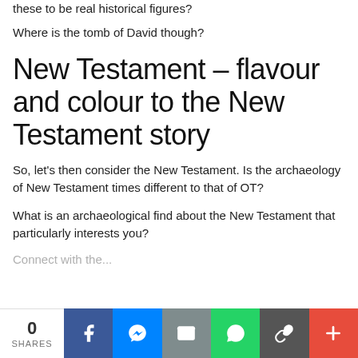these to be real historical figures?
Where is the tomb of David though?
New Testament – flavour and colour to the New Testament story
So, let's then consider the New Testament. Is the archaeology of New Testament times different to that of OT?
What is an archaeological find about the New Testament that particularly interests you?
Connect with the...